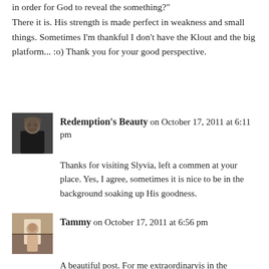in order for God to reveal the something?" There it is. His strength is made perfect in weakness and small things. Sometimes I'm thankful I don't have the Klout and the big platform... :o) Thank you for your good perspective.
Redemption's Beauty on October 17, 2011 at 6:11 pm
Thanks for visiting Slyvia, left a commen at your place. Yes, I agree, sometimes it is nice to be in the background soaking up His goodness.
Tammy on October 17, 2011 at 6:56 pm
A beautiful post. For me extraordinaryis in the ordinary moments. I find it fascinating that God takes